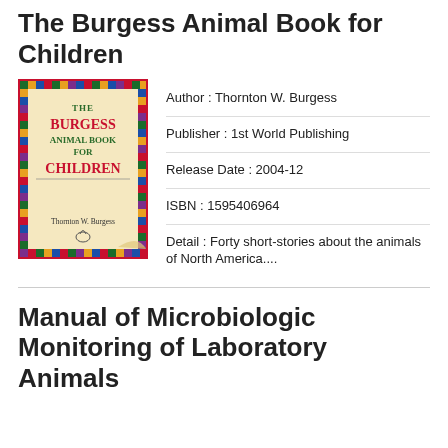The Burgess Animal Book for Children
[Figure (illustration): Book cover of 'The Burgess Animal Book for Children' by Thornton W. Burgess, showing the title in red and green text on a cream/parchment background with colorful border]
Author : Thornton W. Burgess
Publisher : 1st World Publishing
Release Date : 2004-12
ISBN : 1595406964
Detail : Forty short-stories about the animals of North America....
Manual of Microbiologic Monitoring of Laboratory Animals